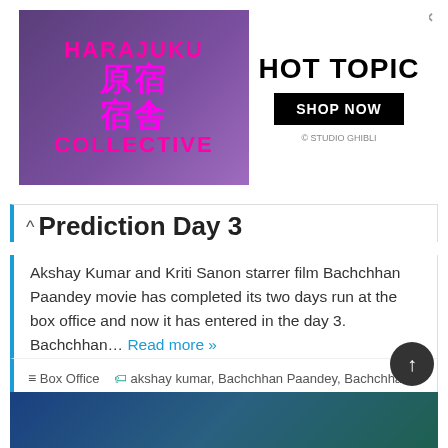[Figure (photo): Hot Topic advertisement banner featuring Harajuku Collective branding with characters in purple/black outfits and Hot Topic Shop Now button]
Prediction Day 3
Akshay Kumar and Kriti Sanon starrer film Bachchhan Paandey movie has completed its two days run at the box office and now it has entered in the day 3. Bachchhan... Read more »
Box Office   akshay kumar, Bachchhan Paandey, Bachchhan Paandey box office collection day 2, Bachchhan Paandey box office collection prediction day 3, Bachchhan Paandey Collection Day 3, Farhad Samji
[Figure (photo): Thumbnail of next article, appears to show a dark fantasy/animal themed image]